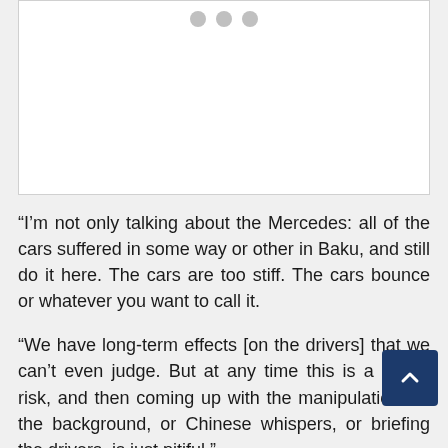[Figure (other): Image placeholder with three gray dots at top, white background with light border]
“I’m not only talking about the Mercedes: all of the cars suffered in some way or other in Baku, and still do it here. The cars are too stiff. The cars bounce or whatever you want to call it.
“We have long-term effects [on the drivers] that we can’t even judge. But at any time this is a safety risk, and then coming up with the manipulations in the background, or Chinese whispers, or briefing the drivers, is just pitiful.”